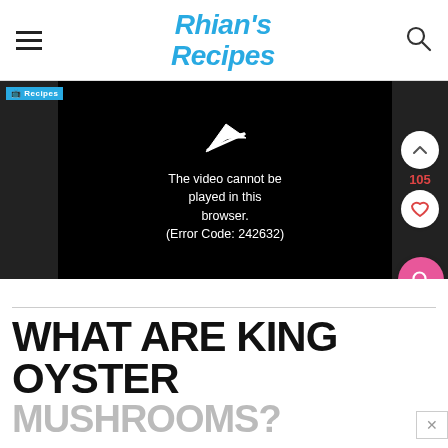Rhian's Recipes
[Figure (screenshot): Video player showing error message: The video cannot be played in this browser. (Error Code: 242632). Side controls show up arrow, count 105, and heart icon.]
WHAT ARE KING OYSTER MUSHROOMS?